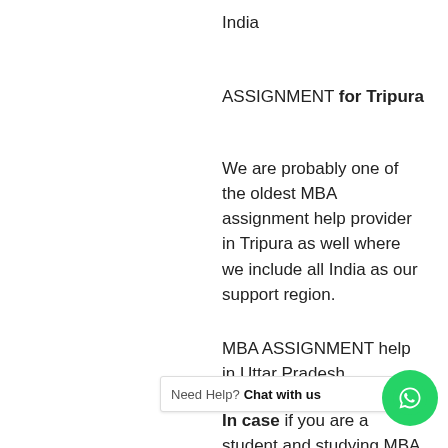India
ASSIGNMENT for Tripura
We are probably one of the oldest MBA assignment help provider in Tripura as well where we include all India as our support region.
MBA ASSIGNMENT help in Uttar Pradesh
In case if you are a student and studying MBA from any university (correspondence and regular both), if you need our help you can call us for best service of assignments, Noida Ghaziabad also included.
[Figure (other): WhatsApp chat widget with 'Need Help? Chat with us' text and green WhatsApp icon button]